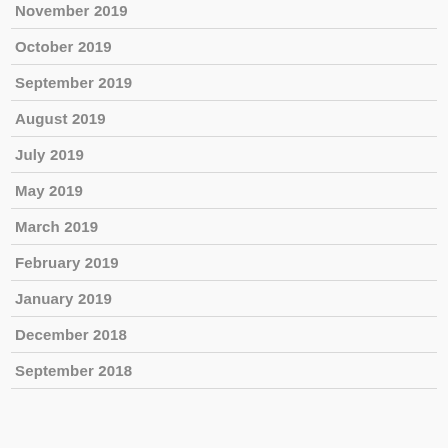November 2019
October 2019
September 2019
August 2019
July 2019
May 2019
March 2019
February 2019
January 2019
December 2018
September 2018